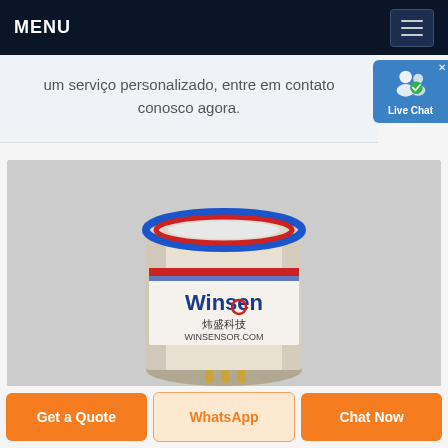MENU
um serviço personalizado, entre em contato conosco agora.
[Figure (photo): A cylindrical Winsen gas sensor (炜盛科技 / WINSENSOR.COM) with blue top ring, white label, and gold metal pins at the bottom, photographed on a light grey background.]
Get a Quote
WhatsApp
Chat Now